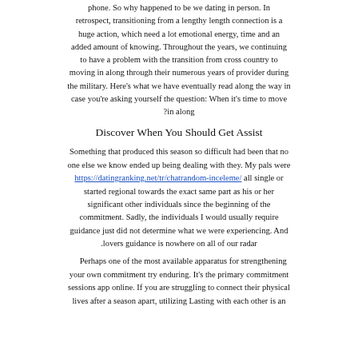phone. So why happened to be we dating in person. In retrospect, transitioning from a lengthy length connection is a huge action, which need a lot emotional energy, time and an added amount of knowing. Throughout the years, we continuing to have a problem with the transition from cross country to moving in along through their numerous years of provider during the military. Here's what we have eventually read along the way in case you're asking yourself the question: When it's time to move in along?
Discover When You Should Get Assist
Something that produced this season so difficult had been that no one else we know ended up being dealing with they. My pals were https://datingranking.net/tr/chatrandom-inceleme/ all single or started regional towards the exact same part as his or her significant other individuals since the beginning of the commitment. Sadly, the individuals I would usually require guidance just did not determine what we were experiencing. And lovers guidance is nowhere on all of our radar.
Perhaps one of the most available apparatus for strengthening your own commitment try enduring. It's the primary commitment sessions app online. If you are struggling to connect their physical lives after a season apart, utilizing Lasting with each other is an